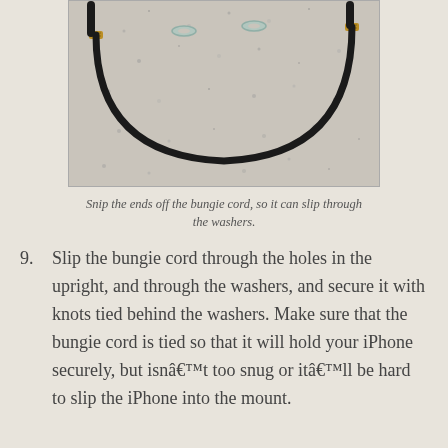[Figure (photo): A black bungie cord laid out in a U-shape on a concrete or stone surface. The cord has small gold/copper coiled fittings near the ends, and two small metal washers are visible on the surface above the cord.]
Snip the ends off the bungie cord, so it can slip through the washers.
9. Slip the bungie cord through the holes in the upright, and through the washers, and secure it with knots tied behind the washers. Make sure that the bungie cord is tied so that it will hold your iPhone securely, but isnâ€™t too snug or itâ€™ll be hard to slip the iPhone into the mount.